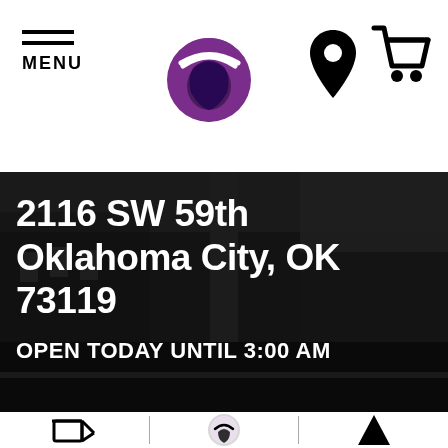MENU
[Figure (logo): Taco Bell purple logo (bell shape with swoosh)]
[Figure (infographic): Location pin icon]
[Figure (infographic): Shopping cart icon]
[Figure (photo): Dark interior/exterior of a Taco Bell restaurant]
2116 SW 59th Oklahoma City, OK 73119
OPEN TODAY UNTIL 3:00 AM
[Figure (infographic): Bottom icons: delivery/pickup/group order options]